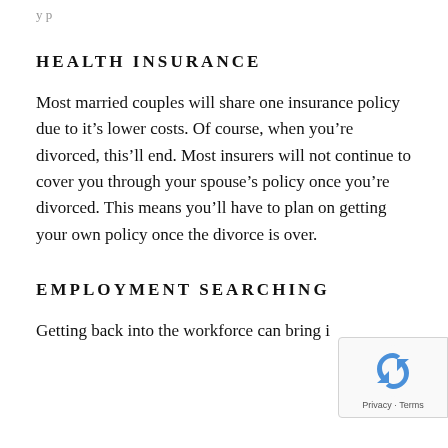y p ...
HEALTH INSURANCE
Most married couples will share one insurance policy due to it’s lower costs. Of course, when you’re divorced, this’ll end. Most insurers will not continue to cover you through your spouse’s policy once you’re divorced. This means you’ll have to plan on getting your own policy once the divorce is over.
EMPLOYMENT SEARCHING
Getting back into the workforce can bring i...